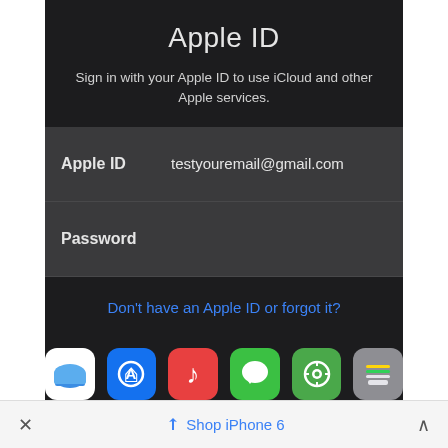Apple ID
Sign in with your Apple ID to use iCloud and other Apple services.
| Field | Value |
| --- | --- |
| Apple ID | testyouremail@gmail.com |
| Password |  |
Don't have an Apple ID or forgot it?
[Figure (screenshot): Row of 6 iOS app icons: iCloud (blue cloud on white), App Store (blue with compass/star), Music (red with music note), Messages (green with speech bubble), Find My (teal/green with target), Wallet (gray with cards)]
× Shop iPhone 6 ∧